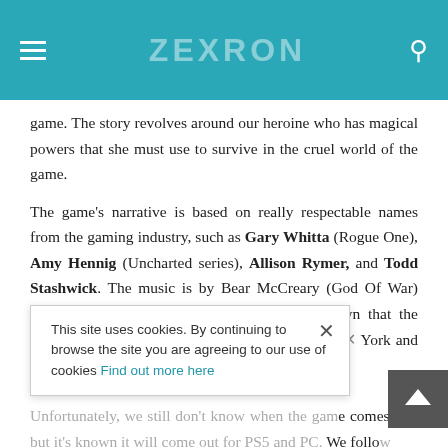ZEXRON
game. The story revolves around our heroine who has magical powers that she must use to survive in the cruel world of the game.
The game's narrative is based on really respectable names from the gaming industry, such as Gary Whitta (Rogue One), Amy Hennig (Uncharted series), Allison Rymer, and Todd Stashwick. The music is by Bear McCreary (God Of War) and Garry Schyman (Bioshock). It is also known that the game will take place in two locations, namely New York and At... Unfortunately, we still don't know when the game comes out, but it's known it will come out for PS5 and PC. We follow the game with great interest. It seems to us that both
This site uses cookies. By continuing to browse the site you are agreeing to our use of cookies Find out more here